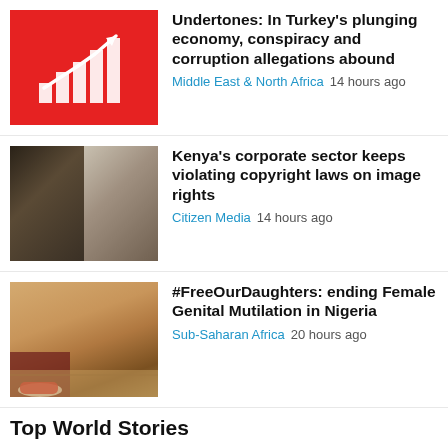[Figure (illustration): Red background with white bar chart and upward trending arrow icon]
Undertones: In Turkey's plunging economy, conspiracy and corruption allegations abound
Middle East & North Africa  14 hours ago
[Figure (photo): Two people wearing motorcycle helmets, side by side]
Kenya's corporate sector keeps violating copyright laws on image rights
Citizen Media  14 hours ago
[Figure (photo): Child sliding or playing on a wooden surface, wearing red and white shoes]
#FreeOurDaughters: ending Female Genital Mutilation in Nigeria
Sub-Saharan Africa  20 hours ago
Top World Stories